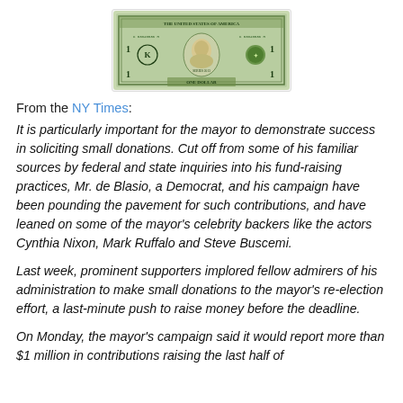[Figure (photo): Image of a US one dollar bill]
From the NY Times:
It is particularly important for the mayor to demonstrate success in soliciting small donations. Cut off from some of his familiar sources by federal and state inquiries into his fund-raising practices, Mr. de Blasio, a Democrat, and his campaign have been pounding the pavement for such contributions, and have leaned on some of the mayor's celebrity backers like the actors Cynthia Nixon, Mark Ruffalo and Steve Buscemi.
Last week, prominent supporters implored fellow admirers of his administration to make small donations to the mayor's re-election effort, a last-minute push to raise money before the deadline.
On Monday, the mayor's campaign said it would report more than $1 million in contributions raising the last half of...